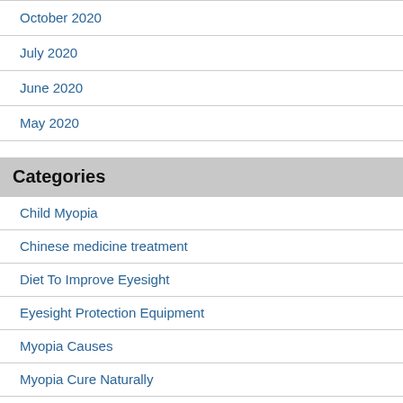October 2020
July 2020
June 2020
May 2020
Categories
Child Myopia
Chinese medicine treatment
Diet To Improve Eyesight
Eyesight Protection Equipment
Myopia Causes
Myopia Cure Naturally
Myopia Exercises Method
Myopia Prevention
Protect eyes